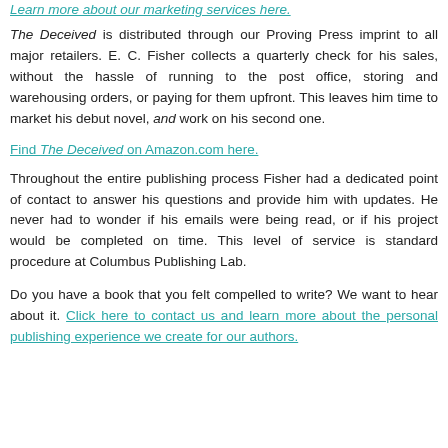Learn more about our marketing services here.
The Deceived is distributed through our Proving Press imprint to all major retailers. E. C. Fisher collects a quarterly check for his sales, without the hassle of running to the post office, storing and warehousing orders, or paying for them upfront. This leaves him time to market his debut novel, and work on his second one.
Find The Deceived on Amazon.com here.
Throughout the entire publishing process Fisher had a dedicated point of contact to answer his questions and provide him with updates. He never had to wonder if his emails were being read, or if his project would be completed on time. This level of service is standard procedure at Columbus Publishing Lab.
Do you have a book that you felt compelled to write? We want to hear about it. Click here to contact us and learn more about the personal publishing experience we create for our authors.